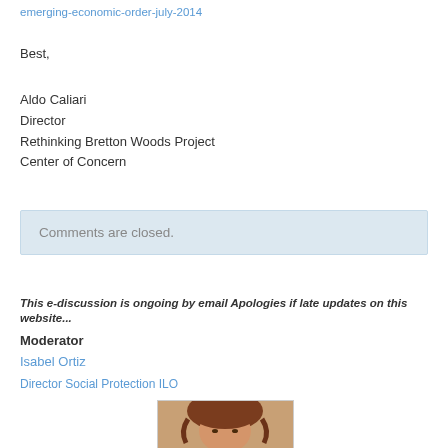emerging-economic-order-july-2014
Best,
Aldo Caliari
Director
Rethinking Bretton Woods Project
Center of Concern
Comments are closed.
This e-discussion is ongoing by email Apologies if late updates on this website...
Moderator
Isabel Ortiz
Director Social Protection ILO
[Figure (photo): Portrait photo of Isabel Ortiz, partially visible, showing top of head with curly auburn hair]